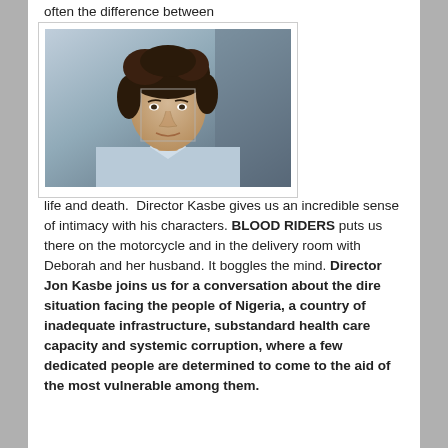often the difference between
[Figure (photo): Portrait photo of a young man with curly dark hair wearing a light blue shirt, seated indoors with soft background lighting. A face-detection box is visible overlaid on his face.]
life and death.  Director Kasbe gives us an incredible sense of intimacy with his characters. BLOOD RIDERS puts us  there on the motorcycle and in the delivery room with Deborah and her husband. It boggles the mind. Director Jon Kasbe joins us for a conversation about the dire situation facing the people of Nigeria, a country of inadequate infrastructure, substandard health care capacity and systemic corruption, where a few dedicated people are determined to come to the aid of the most vulnerable among them.